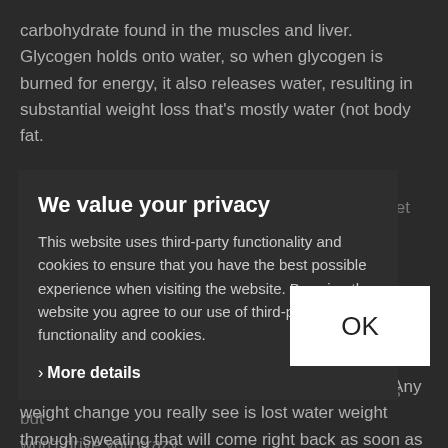carbohydrate found in the muscles and liver. Glycogen holds onto water, so when glycogen is burned for energy, it also releases water, resulting in substantial weight loss that's mostly water (not body fat.
We value your privacy
This website uses third-party functionality and cookies to ensure that you have the best possible experience when visiting the website. By using the website you agree to our use of third-party functionality and cookies.
More details
3. Immediately after a workout. You just ran for an hour on the treadmill so you strip down and hop on the scale in the locker room to see how much fat you burned off. But actual fat loss doesn't happen immediately. Any weight change you really see is lost water weight through sweating that will come right back as soon as you rehydrate. This is another reason why it's best to weigh-in consistently at the same